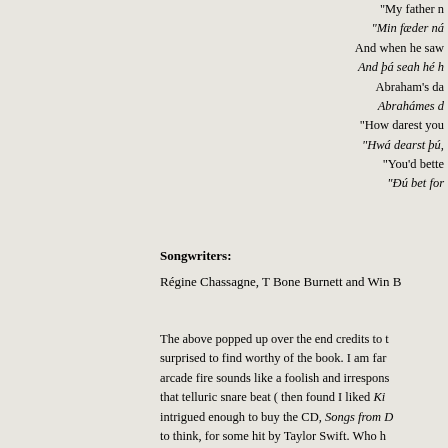"My father n... "Min fæder ná... And when he saw... And þá seah hé h... Abraham's da... Abrahámes d... "How darest you... "Hwá dearst þú,... "You'd bette... "Ðú bet for...
Songwriters:
Régine Chassagne, T Bone Burnett and Win B...
The above popped up over the end credits to t... surprised to find worthy of the book. I am far arcade fire sounds like a foolish and irrespons... that telluric snare beat ( then found I liked Ki... intrigued enough to buy the CD, Songs from D... to think, for some hit by Taylor Swift. Who h... actually find Safe and Sound gets a bit irritatin...